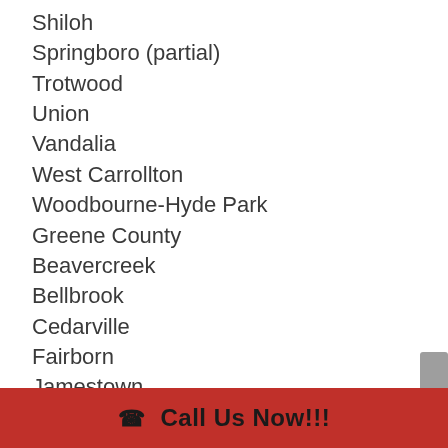Shiloh
Springboro (partial)
Trotwood
Union
Vandalia
West Carrollton
Woodbourne-Hyde Park
Greene County
Beavercreek
Bellbrook
Cedarville
Fairborn
Jamestown
Shawnee Hills
Wilberforce
Wright-Patterson AFB
📞 Call Us Now!!!